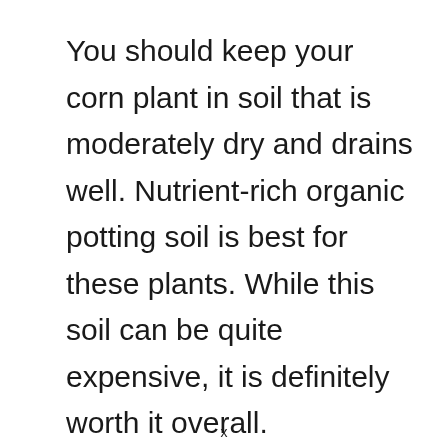You should keep your corn plant in soil that is moderately dry and drains well. Nutrient-rich organic potting soil is best for these plants. While this soil can be quite expensive, it is definitely worth it overall.
x